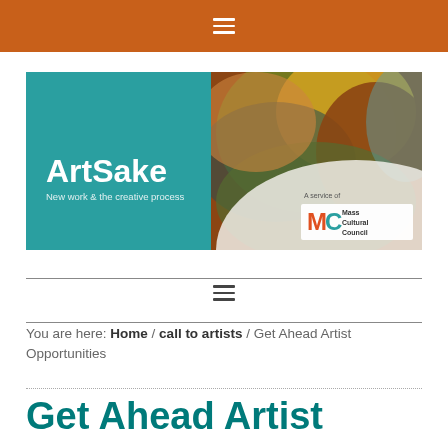Navigation menu bar (orange)
[Figure (illustration): ArtSake banner with teal background on left side showing 'ArtSake' in white bold text and 'New work & the creative process' subtitle, colorful abstract painting on right side, and 'A service of Mass Cultural Council' logo on far right]
You are here: Home / call to artists / Get Ahead Artist Opportunities
Get Ahead Artist Opportunities